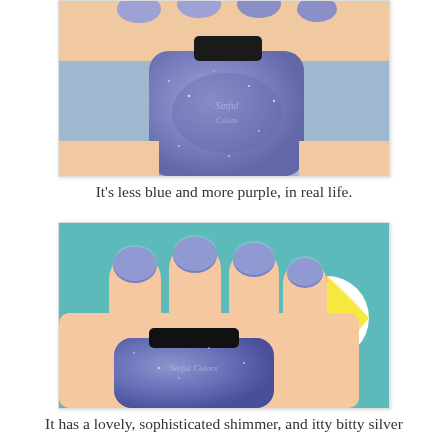[Figure (photo): Close-up photo of a hand holding a blue-purple glitter nail polish bottle (Sinful Colors brand), showing the shimmer texture of the polish against a light blue background.]
It's less blue and more purple, in real life.
[Figure (photo): Photo of a hand with four fingers showing painted nails in a blue-purple shimmer polish, holding a Sinful Colors nail polish bottle. A colorful beach ball is visible in the blurred turquoise background.]
It has a lovely, sophisticated shimmer, and itty bitty silver